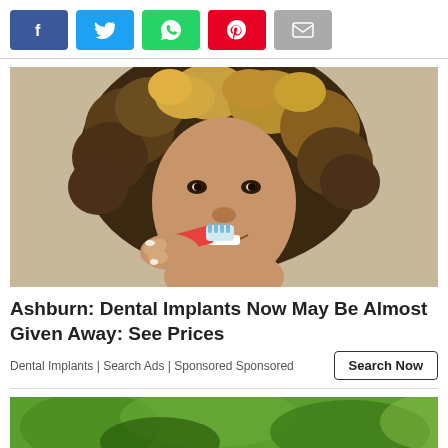[Figure (other): Social share buttons: Facebook (blue), Twitter (light blue), WhatsApp (green), Pinterest (red), Email (gray)]
[Figure (photo): A woman with curly hair brushing her teeth with a toothbrush, smiling at the camera, against a light background.]
Ashburn: Dental Implants Now May Be Almost Given Away: See Prices
Dental Implants | Search Ads | Sponsored Sponsored
[Figure (photo): Partial image of green foliage/nature scene at bottom of page.]